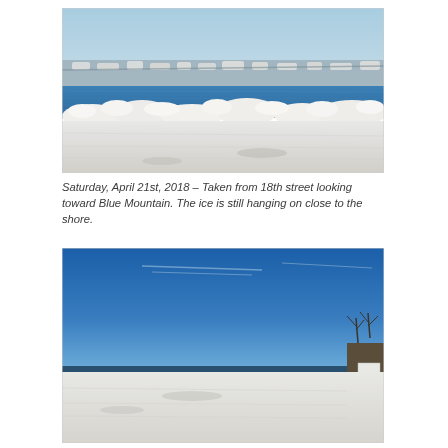[Figure (photo): Winter/spring lakeside scene viewed from 18th street looking toward Blue Mountain. Piled ice chunks along the shore in the foreground, blue open water in the middle, and a snow-streaked bluff/escarpment in the background under a pale blue sky.]
Saturday, April 21st, 2018 – Taken from 18th street looking toward Blue Mountain. The ice is still hanging on close to the shore.
[Figure (photo): Wide panoramic winter lake scene with a bright blue sky, a flat frozen snow-covered foreground, a thin dark strip of open water at the horizon, and bare trees and a sign visible on the right shore.]